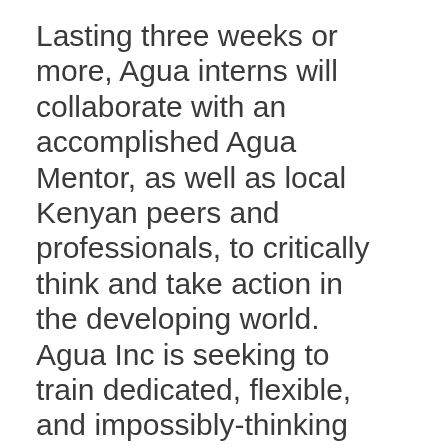Lasting three weeks or more, Agua interns will collaborate with an accomplished Agua Mentor, as well as local Kenyan peers and professionals, to critically think and take action in the developing world. Agua Inc is seeking to train dedicated, flexible, and impossibly-thinking